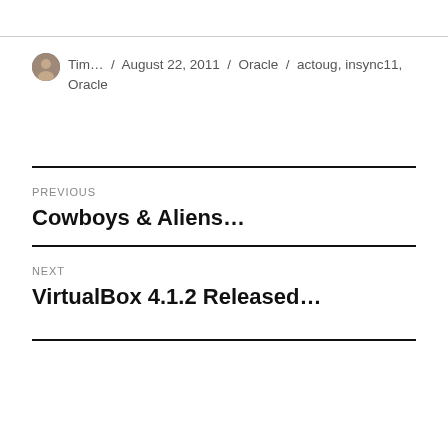Tim… / August 22, 2011 / Oracle / actoug, insync11, Oracle
PREVIOUS
Cowboys & Aliens…
NEXT
VirtualBox 4.1.2 Released…